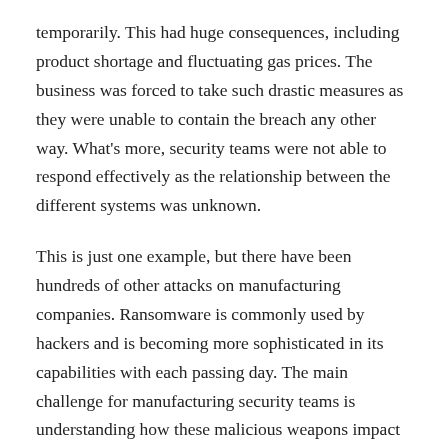temporarily. This had huge consequences, including product shortage and fluctuating gas prices. The business was forced to take such drastic measures as they were unable to contain the breach any other way. What's more, security teams were not able to respond effectively as the relationship between the different systems was unknown.
This is just one example, but there have been hundreds of other attacks on manufacturing companies. Ransomware is commonly used by hackers and is becoming more sophisticated in its capabilities with each passing day. The main challenge for manufacturing security teams is understanding how these malicious weapons impact the environment so they can respond effectively to their advancements. If not, then it would be tricky to make informed decisions about what measures need to be taken, not to mention the wider budgeting discussions.